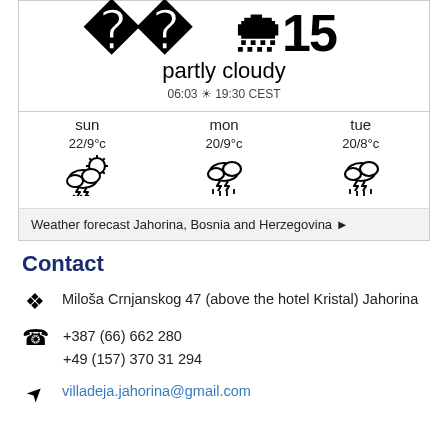[Figure (infographic): Weather widget showing partly cloudy conditions, sunrise 06:03, sunset 19:30 CEST, with 3-day forecast: sun 22/9°C thunderstorm/sun, mon 20/9°C thunderstorm, tue 20/8°C thunderstorm]
Weather forecast Jahorina, Bosnia and Herzegovina ▶
Contact
Miloša Crnjanskog 47 (above the hotel Kristal) Jahorina
+387 (66) 662 280
+49 (157) 370 31 294
villadeja.jahorina@gmail.com